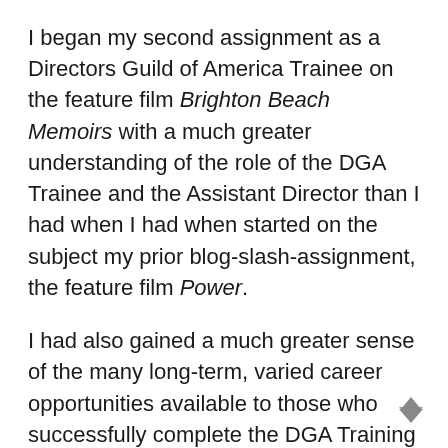I began my second assignment as a Directors Guild of America Trainee on the feature film Brighton Beach Memoirs with a much greater understanding of the role of the DGA Trainee and the Assistant Director than I had when I had when started on the subject my prior blog-slash-assignment, the feature film Power.
I had also gained a much greater sense of the many long-term, varied career opportunities available to those who successfully complete the DGA Training Program.
Just as in the movie Brighton Beach Memoirs the future was wide open and, much like this blog, free to be written on a screenwriter's set of...